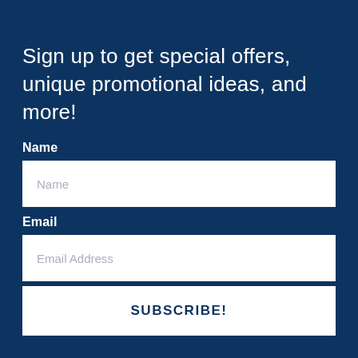Sign up to get special offers, unique promotional ideas, and more!
Name
Name
Email
Email Address
SUBSCRIBE!